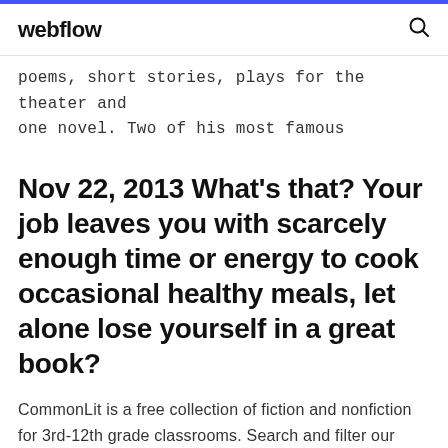webflow
poems, short stories, plays for the theater and one novel. Two of his most famous
Nov 22, 2013 What's that? Your job leaves you with scarcely enough time or energy to cook occasional healthy meals, let alone lose yourself in a great book?
CommonLit is a free collection of fiction and nonfiction for 3rd-12th grade classrooms. Search and filter our collection by lexile, grade,